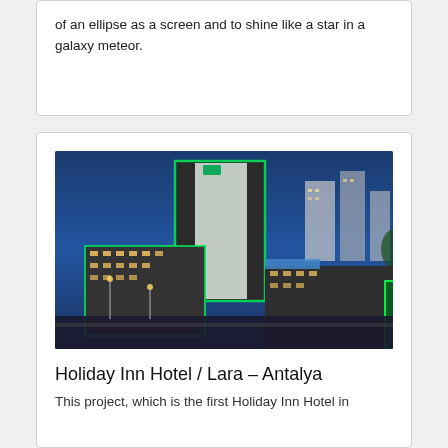of an ellipse as a screen and to shine like a star in a galaxy meteor.
[Figure (photo): Aerial night view of Holiday Inn Hotel Lara Antalya, showing a tall tower building with green LED lighting accents, surrounded by lower hotel wings with illuminated windows and a rooftop pool, with city buildings in the background under a blue dusk sky.]
Holiday Inn Hotel / Lara – Antalya
This project, which is the first Holiday Inn Hotel in